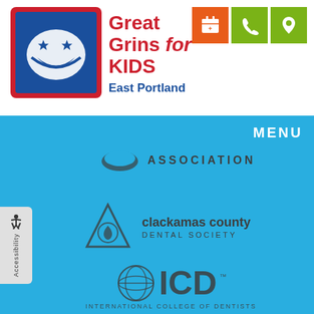[Figure (logo): Great Grins for Kids logo with smiling character in blue/red square]
Great Grins for KIDS
East Portland
[Figure (logo): Orange calendar icon button]
[Figure (logo): Green phone icon button]
[Figure (logo): Green map pin icon button]
MENU
[Figure (logo): Oregon Dental Association logo - tooth shape and ASSOCIATION text]
[Figure (logo): Clackamas County Dental Society logo with triangle emblem]
[Figure (logo): ICD International College of Dentists logo with globe]
Accessibility